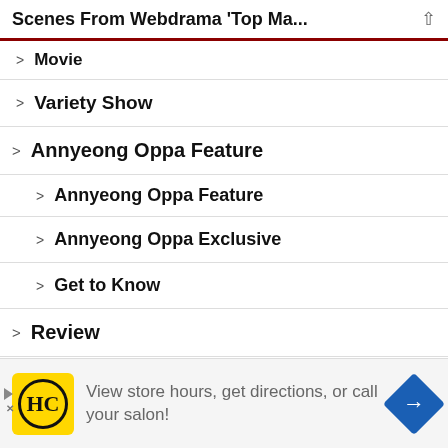Scenes From Webdrama 'Top Ma...
> Movie
> Variety Show
> Annyeong Oppa Feature
> Annyeong Oppa Feature
> Annyeong Oppa Exclusive
> Get to Know
> Review
> Show Reviews
Privacy & Cookies: This site uses cookies. By continuing to use this site, you agree to their use. ...nd out more, incl...okies, see here: Cookie
View store hours, get directions, or call your salon!